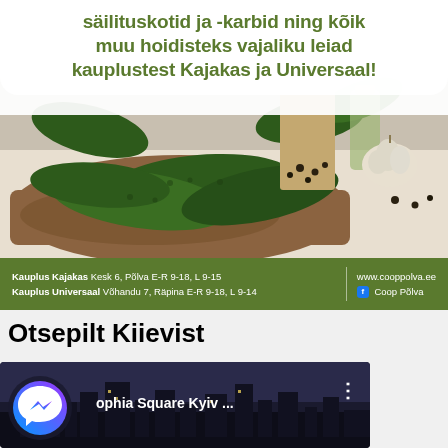[Figure (photo): Advertisement image with cucumbers, garlic and spices on a wooden cutting board. Green text overlay with store info at bottom.]
säilituskotid ja -karbid ning kõik muu hoidisteks vajaliku leiad kauplustest Kajakas ja Universaal!
Kauplus Kajakas  Kesk 6, Põlva E-R 9-18, L 9-15
Kauplus Universaal  Võhandu 7, Räpina E-R 9-18, L 9-14
www.cooppolva.ee
Coop Põlva
Otsepilt Kiievist
[Figure (screenshot): Video thumbnail showing Sophia Square Kyiv with dark cityscape. Facebook Messenger icon overlay in bottom-left corner. Three-dot menu icon on right side.]